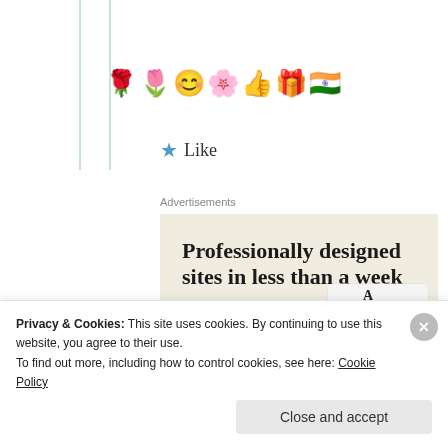[Figure (illustration): Vertical teal/green sidebar lines on the left side of the page]
🌹🌷😊🌸👍🎁🇮🇳
★ Like
Advertisements
[Figure (screenshot): Advertisement banner: beige background with text 'Professionally designed sites in less than a week', a green 'Explore options' button, and mock website screenshots on the right side]
Privacy & Cookies: This site uses cookies. By continuing to use this website, you agree to their use.
To find out more, including how to control cookies, see here: Cookie Policy
Close and accept